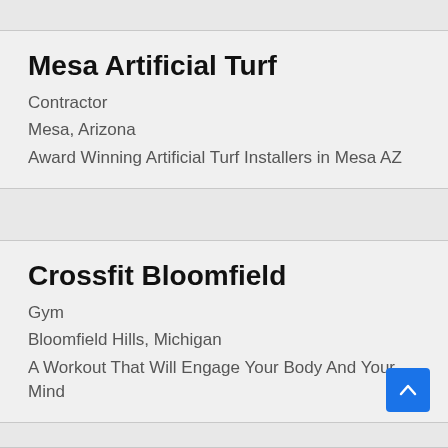Mesa Artificial Turf
Contractor
Mesa, Arizona
Award Winning Artificial Turf Installers in Mesa AZ
Crossfit Bloomfield
Gym
Bloomfield Hills, Michigan
A Workout That Will Engage Your Body And Your Mind